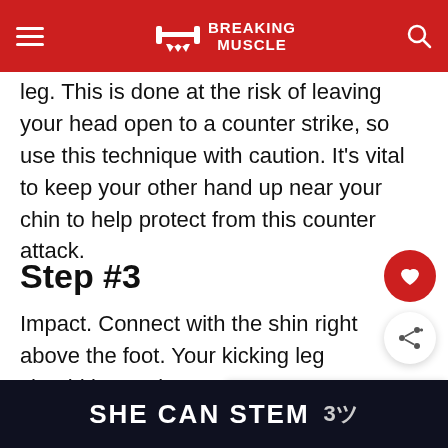BREAKING MUSCLE
leg. This is done at the risk of leaving your head open to a counter strike, so use this technique with caution. It's vital to keep your other hand up near your chin to help protect from this counter attack.
Step #3
Impact. Connect with the shin right above the foot. Your kicking leg should be straig... most part, as you make impact. Remember, the leg... sw... act.
[Figure (other): What's Next thumbnail showing powerlifter]
[Figure (infographic): SHE CAN STEM advertisement banner at bottom of page]